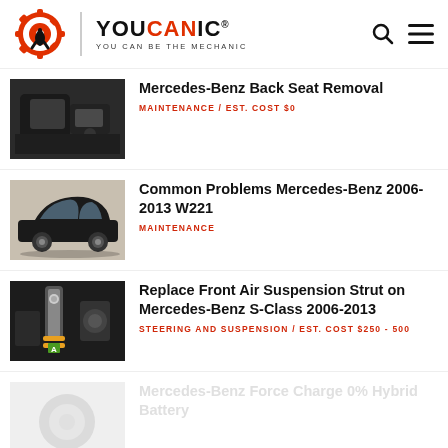[Figure (logo): YOUCANIC logo with gear/wrench icon and tagline YOU CAN BE THE MECHANIC]
Mercedes-Benz Back Seat Removal | MAINTENANCE / EST. COST $0
Common Problems Mercedes-Benz 2006-2013 W221 | MAINTENANCE
Replace Front Air Suspension Strut on Mercedes-Benz S-Class 2006-2013 | STEERING AND SUSPENSION / EST. COST $250 - 500
Mercedes-Benz Force Charge 0% Hybrid Battery